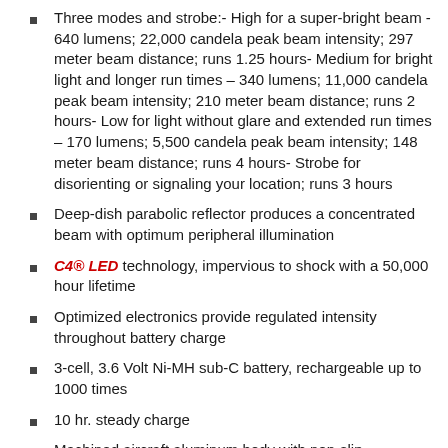Three modes and strobe:- High for a super-bright beam - 640 lumens; 22,000 candela peak beam intensity; 297 meter beam distance; runs 1.25 hours- Medium for bright light and longer run times – 340 lumens; 11,000 candela peak beam intensity; 210 meter beam distance; runs 2 hours- Low for light without glare and extended run times – 170 lumens; 5,500 candela peak beam intensity; 148 meter beam distance; runs 4 hours- Strobe for disorienting or signaling your location; runs 3 hours
Deep-dish parabolic reflector produces a concentrated beam with optimum peripheral illumination
C4® LED technology, impervious to shock with a 50,000 hour lifetime
Optimized electronics provide regulated intensity throughout battery charge
3-cell, 3.6 Volt Ni-MH sub-C battery, rechargeable up to 1000 times
10 hr. steady charge
Machined aircraft aluminum body with non-slip